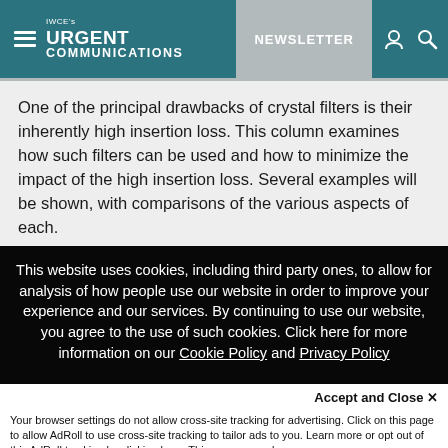IWCE's URGENT COMMUNICATIONS — NEWSLETTER
One of the principal drawbacks of crystal filters is their inherently high insertion loss. This column examines how such filters can be used and how to minimize the impact of the high insertion loss. Several examples will be shown, with comparisons of the various aspects of each.
This website uses cookies, including third party ones, to allow for analysis of how people use our website in order to improve your experience and our services. By continuing to use our website, you agree to the use of such cookies. Click here for more information on our Cookie Policy and Privacy Policy
Accept and Close ✕
Your browser settings do not allow cross-site tracking for advertising. Click on this page to allow AdRoll to use cross-site tracking to tailor ads to you. Learn more or opt out of this AdRoll tracking by clicking here. This message only appears once.